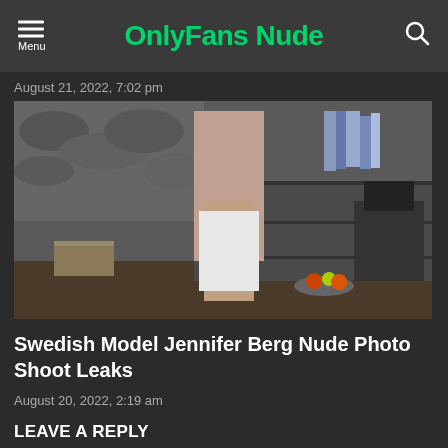OnlyFans Nude
August 21, 2022, 7:02 pm
[Figure (photo): A person standing with back to camera holding a white towel, in an interior room with shelving, books, and a dark chair visible in the background.]
Swedish Model Jennifer Berg Nude Photo Shoot Leaks
August 20, 2022, 2:19 am
LEAVE A REPLY